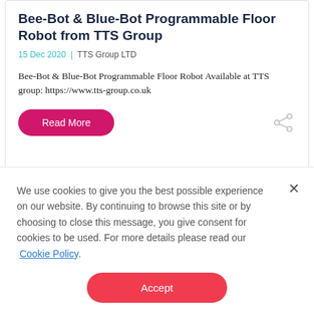Bee-Bot & Blue-Bot Programmable Floor Robot from TTS Group
15 Dec 2020  |  TTS Group LTD
Bee-Bot & Blue-Bot Programmable Floor Robot Available at TTS group: https://www.tts-group.co.uk
Read More
[Figure (other): Black banner strip at bottom of article card]
We use cookies to give you the best possible experience on our website. By continuing to browse this site or by choosing to close this message, you give consent for cookies to be used. For more details please read our Cookie Policy.
Accept